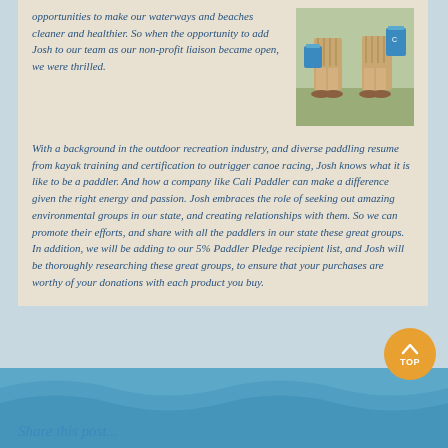opportunities to make our waterways and beaches cleaner and healthier. So when the opportunity to add Josh to our team as our non-profit liaison became open, we were thrilled.
[Figure (photo): Two people standing outdoors holding blue buckets, wearing casual clothes and sandals, on grass/ground near water.]
With a background in the outdoor recreation industry, and diverse paddling resume from kayak training and certification to outrigger canoe racing, Josh knows what it is like to be a paddler. And how a company like Cali Paddler can make a difference given the right energy and passion. Josh embraces the role of seeking out amazing environmental groups in our state, and creating relationships with them. So we can promote their efforts, and share with all the paddlers in our state these great groups. In addition, we will be adding to our 5% Paddler Pledge recipient list, and Josh will be thoroughly researching these great groups, to ensure that your purchases are worthy of your donations with each product you buy.
Share this post...